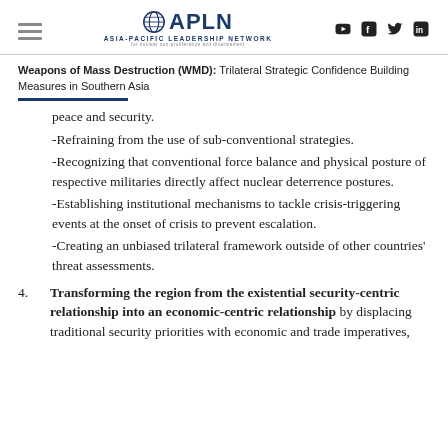APLN Asia-Pacific Leadership Network
Weapons of Mass Destruction (WMD): Trilateral Strategic Confidence Building Measures in Southern Asia
peace and security.
-Refraining from the use of sub-conventional strategies.
-Recognizing that conventional force balance and physical posture of respective militaries directly affect nuclear deterrence postures.
-Establishing institutional mechanisms to tackle crisis-triggering events at the onset of crisis to prevent escalation.
-Creating an unbiased trilateral framework outside of other countries' threat assessments.
4. Transforming the region from the existential security-centric relationship into an economic-centric relationship by displacing traditional security priorities with economic and trade imperatives,